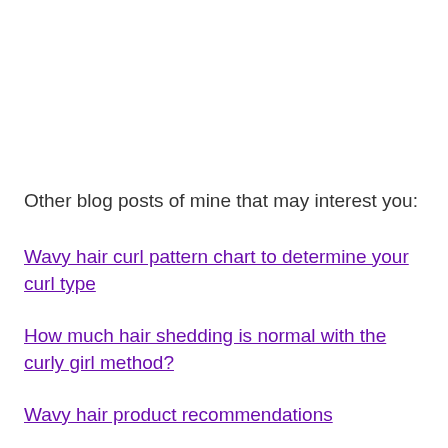Other blog posts of mine that may interest you:
Wavy hair curl pattern chart to determine your curl type
How much hair shedding is normal with the curly girl method?
Wavy hair product recommendations